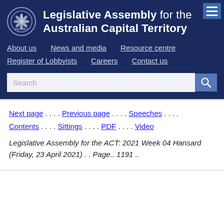Legislative Assembly for the Australian Capital Territory
Next page . . . . Previous page . . . . Speeches . . . . Contents . . . . Sittings . . . . PDF . . . . Video
Legislative Assembly for the ACT: 2021 Week 04 Hansard (Friday, 23 April 2021) . . Page.. 1191 ..